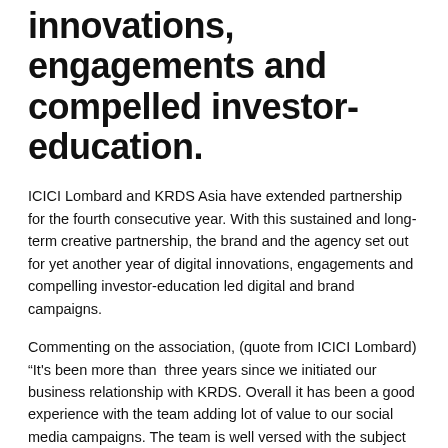innovations, engagements and compelled investor-education.
ICICI Lombard and KRDS Asia have extended partnership for the fourth consecutive year. With this sustained and long-term creative partnership, the brand and the agency set out for yet another year of digital innovations, engagements and compelling investor-education led digital and brand campaigns.
Commenting on the association, (quote from ICICI Lombard) “It's been more than  three years since we initiated our business relationship with KRDS. Overall it has been a good experience with the team adding lot of value to our social media campaigns. The team is well versed with the subject matter and is able to develop interesting creatives while adhering to the timelines. Their understanding of the brand and the category helps in seamless